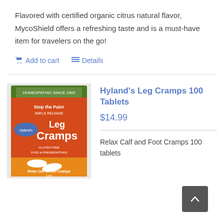Flavored with certified organic citrus natural flavor, MycoShield offers a refreshing taste and is a must-have item for travelers on the go!
Add to cart   Details
Hyland's Leg Cramps 100 Tablets
$14.99
[Figure (photo): Hyland's Leg Cramps 100 Tablets product box — orange and red packaging with text 'Stop the Pain! Leg Cramps']
Relax Calf and Foot Cramps 100 tablets